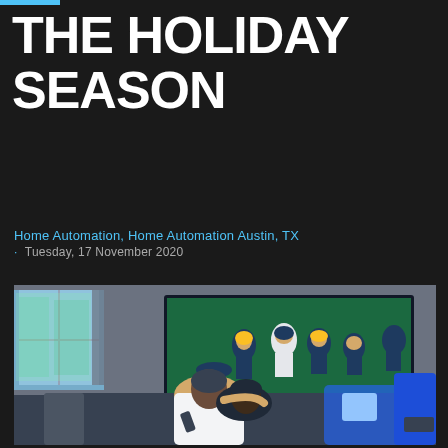THE HOLIDAY SEASON
Home Automation, Home Automation Austin, TX
· Tuesday, 17 November 2020
[Figure (photo): A couple sitting on a couch from behind, watching a large wall-mounted TV showing an American football game, in a modern living room with blue sofas and large windows]